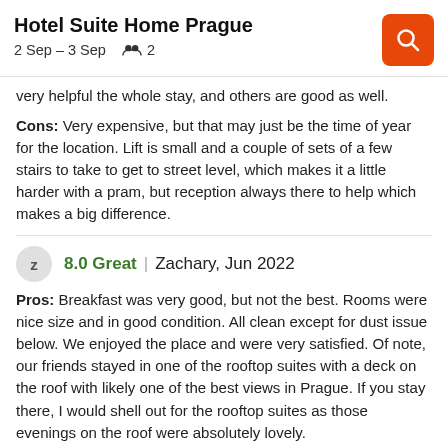Hotel Suite Home Prague | 2 Sep – 3 Sep | 2 guests
very helpful the whole stay, and others are good as well.
Cons: Very expensive, but that may just be the time of year for the location. Lift is small and a couple of sets of a few stairs to take to get to street level, which makes it a little harder with a pram, but reception always there to help which makes a big difference.
8.0 Great | Zachary, Jun 2022
Pros: Breakfast was very good, but not the best. Rooms were nice size and in good condition. All clean except for dust issue below. We enjoyed the place and were very satisfied. Of note, our friends stayed in one of the rooftop suites with a deck on the roof with likely one of the best views in Prague. If you stay there, I would shell out for the rooftop suites as those evenings on the roof were absolutely lovely.
Cons: There was lots of dust on top of cabinets which went all over the place when a breeze came through windows. Bathroom was small but manageable.